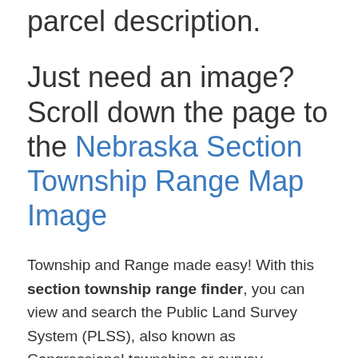parcel description.
Just need an image? Scroll down the page to the Nebraska Section Township Range Map Image
Township and Range made easy! With this section township range finder, you can view and search the Public Land Survey System (PLSS), also known as Congressional townships or survey townships, all the way down to the section, quarter section and quarter quarter section level anywhere in Nebraska, all overlaid on a fully interactive Google Map. Optionally, add section township range labels, and overlay counties and cities as well!